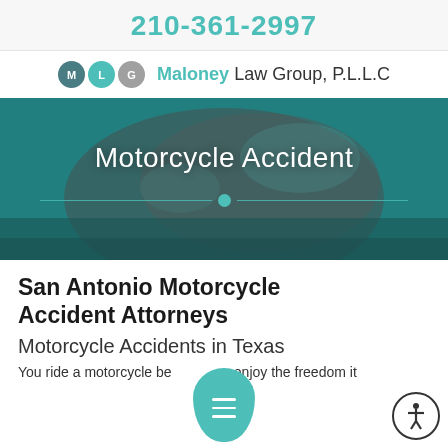210-361-2997
[Figure (logo): Maloney Law Group P.L.L.C logo with three circles (M, L, G) in teal and grey colors]
[Figure (photo): Hero banner image showing a motorcycle helmet on the ground with teal overlay and decorative line with dot]
Motorcycle Accident
San Antonio Motorcycle Accident Attorneys
Motorcycle Accidents in Texas
You ride a motorcycle because you enjoy the freedom it